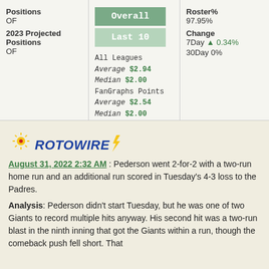Positions
OF
2023 Projected Positions
OF
[Figure (other): Overall and Last 10 green buttons with stats: All Leagues Average $2.94, Median $2.00, FanGraphs Points Average $2.54, Median $2.00]
Roster%
97.95%
Change
7Day ▲ 0.34%
30Day 0%
[Figure (logo): RotoWire logo with sun/lightning bolt accent]
August 31, 2022 2:32 AM : Pederson went 2-for-2 with a two-run home run and an additional run scored in Tuesday's 4-3 loss to the Padres.
Analysis: Pederson didn't start Tuesday, but he was one of two Giants to record multiple hits anyway. His second hit was a two-run blast in the ninth inning that got the Giants within a run, though the comeback push fell short. That